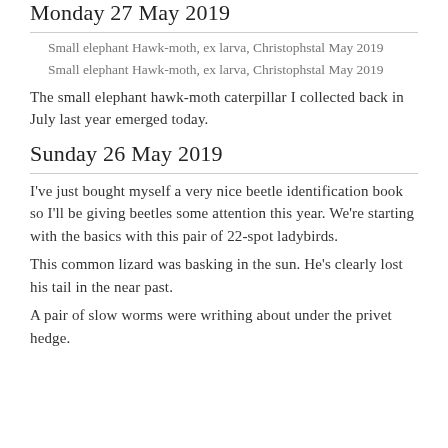Monday 27 May 2019
Small elephant Hawk-moth, ex larva, Christophstal May 2019
Small elephant Hawk-moth, ex larva, Christophstal May 2019
The small elephant hawk-moth caterpillar I collected back in July last year emerged today.
Sunday 26 May 2019
I've just bought myself a very nice beetle identification book so I'll be giving beetles some attention this year. We're starting with the basics with this pair of 22-spot ladybirds.
This common lizard was basking in the sun. He's clearly lost his tail in the near past.
A pair of slow worms were writhing about under the privet hedge.